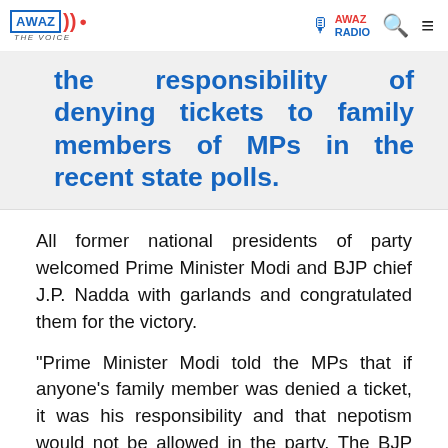AWAZ THE VOICE | AWAZ RADIO
the responsibility of denying tickets to family members of MPs in the recent state polls.
All former national presidents of party welcomed Prime Minister Modi and BJP chief J.P. Nadda with garlands and congratulated them for the victory.
"Prime Minister Modi told the MPs that if anyone's family member was denied a ticket, it was his responsibility and that nepotism would not be allowed in the party. The BJP will fight against nepotism and dynasty politics in the other political parties," BJP sources said.